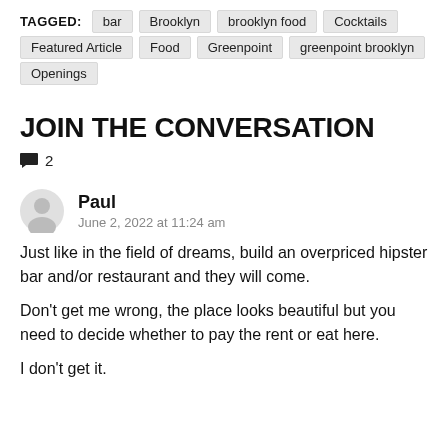TAGGED: bar  Brooklyn  brooklyn food  Cocktails  Featured Article  Food  Greenpoint  greenpoint brooklyn  Openings
JOIN THE CONVERSATION
💬 2
Paul
June 2, 2022 at 11:24 am
Just like in the field of dreams, build an overpriced hipster bar and/or restaurant and they will come.
Don't get me wrong, the place looks beautiful but you need to decide whether to pay the rent or eat here.
I don't get it.